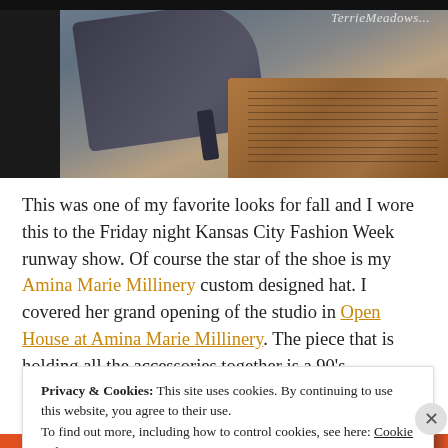[Figure (photo): Close-up photo of a high-heeled shoe on a doorstep with a doormat visible. Watermark text 'Terrie Meadows...' in cursive in the top right corner.]
This was one of my favorite looks for fall and I wore this to the Friday night Kansas City Fashion Week runway show. Of course the star of the shoe is my Amina Marie Millinery custom designed hat. I covered her grand opening of the studio in Open House at Amina Marie Millinery. The piece that is holding all the accessories together is a 90's minimalist black crepe wool dress that I had found the previous spring at Salvation Army. I knew it could be a very important piece. This post was appropriately
Privacy & Cookies: This site uses cookies. By continuing to use this website, you agree to their use.
To find out more, including how to control cookies, see here: Cookie Policy
Close and accept